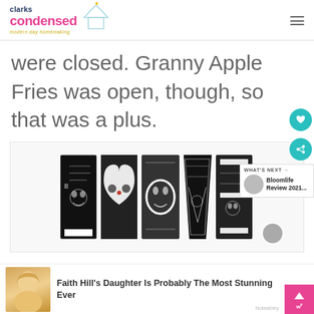clarks condensed — modern day homemaking
were closed. Granny Apple Fries was open, though, so that was a plus.
[Figure (illustration): Black and white decorative LOVE lettering illustration with face motifs inside each letter, displayed as an advertisement. An X close button is visible in the top right corner.]
[Figure (infographic): WHAT'S NEXT arrow label with a circular thumbnail and text 'Bloomlife Review 2021...']
[Figure (photo): Promotional block at bottom: photo of a blonde woman (Faith Hill), with headline 'Faith Hill's Daughter Is Probably The Most Stunning Ever', Noteabley branding, X close button, and pink WP button with up arrow.]